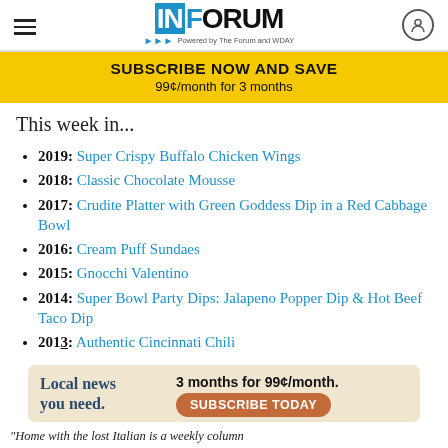INFORUM — Powered by The Forum and WDAY
[Figure (infographic): Yellow subscribe banner: SUBSCRIBE NOW AND SAVE — 99¢/month for 3 months]
This week in...
2019: Super Crispy Buffalo Chicken Wings
2018: Classic Chocolate Mousse
2017: Crudite Platter with Green Goddess Dip in a Red Cabbage Bowl
2016: Cream Puff Sundaes
2015: Gnocchi Valentino
2014: Super Bowl Party Dips: Jalapeno Popper Dip & Hot Beef Taco Dip
2013: Authentic Cincinnati Chili
[Figure (infographic): Bottom ad banner: Local news you need. 3 months for 99¢/month. SUBSCRIBE TODAY]
"Home with the lost Italian is a weekly column"